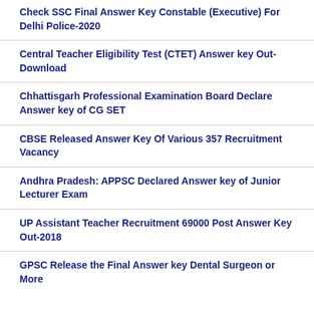Check SSC Final Answer Key Constable (Executive) For Delhi Police-2020
Central Teacher Eligibility Test (CTET) Answer key Out-Download
Chhattisgarh Professional Examination Board Declare Answer key of CG SET
CBSE Released Answer Key Of Various 357 Recruitment Vacancy
Andhra Pradesh: APPSC Declared Answer key of Junior Lecturer Exam
UP Assistant Teacher Recruitment 69000 Post Answer Key Out-2018
GPSC Release the Final Answer key Dental Surgeon or More